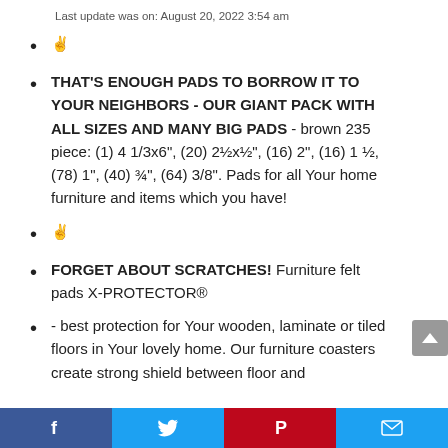Last update was on: August 20, 2022 3:54 am
&#x270C
THAT'S ENOUGH PADS TO BORROW IT TO YOUR NEIGHBORS - OUR GIANT PACK WITH ALL SIZES AND MANY BIG PADS - brown 235 piece: (1) 4 1/3x6", (20) 2½x½", (16) 2", (16) 1 ½, (78) 1", (40) ¾", (64) 3/8". Pads for all Your home furniture and items which you have!
&#x270C
FORGET ABOUT SCRATCHES! Furniture felt pads X-PROTECTOR&reg
- best protection for Your wooden, laminate or tiled floors in Your lovely home. Our furniture coasters create strong shield between floor and
Facebook | Twitter | Pinterest | Email